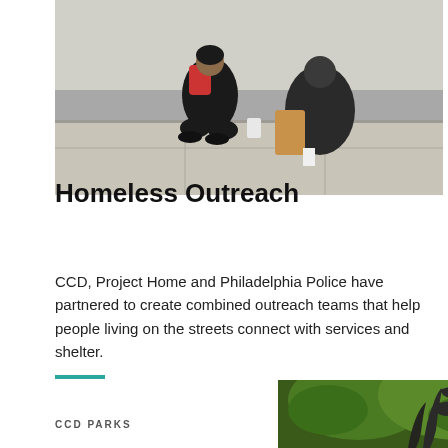[Figure (photo): People crouching on a sidewalk doing street outreach, one person in black hoodie with backpack, brown paper bag visible]
Homeless Outreach
CCD, Project Home and Philadelphia Police have partnered to create combined outreach teams that help people living on the streets connect with services and shelter.
[Figure (photo): Green foliage and decorative metal sculpture in a park setting]
CCD PARKS